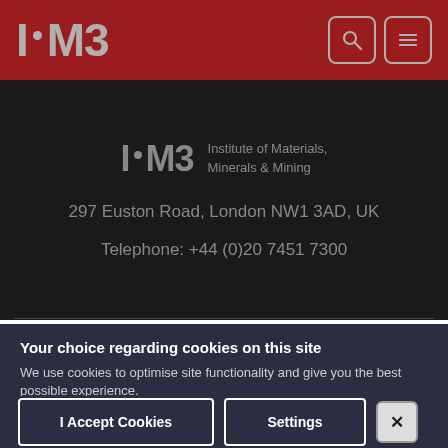I·M3 [logo with search and menu icons]
[Figure (logo): I·M3 Institute of Materials, Minerals & Mining logo centered on dark background with address and telephone]
297 Euston Road, London NW1 3AD, UK
Telephone: +44 (0)20 7451 7300
Your choice regarding cookies on this site
We use cookies to optimise site functionality and give you the best possible experience.
I Accept Cookies | Settings | X